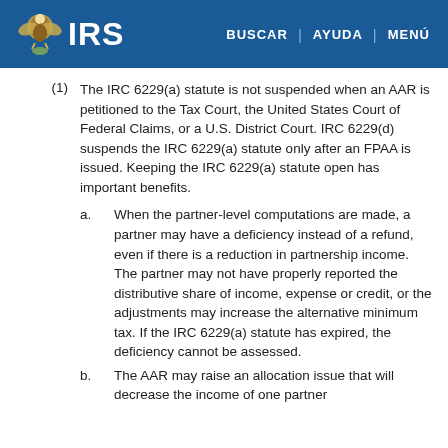IRS | BUSCAR | AYUDA | MENÚ
(1) The IRC 6229(a) statute is not suspended when an AAR is petitioned to the Tax Court, the United States Court of Federal Claims, or a U.S. District Court. IRC 6229(d) suspends the IRC 6229(a) statute only after an FPAA is issued. Keeping the IRC 6229(a) statute open has important benefits.
a. When the partner-level computations are made, a partner may have a deficiency instead of a refund, even if there is a reduction in partnership income. The partner may not have properly reported the distributive share of income, expense or credit, or the adjustments may increase the alternative minimum tax. If the IRC 6229(a) statute has expired, the deficiency cannot be assessed.
b. The AAR may raise an allocation issue that will decrease the income of one partner